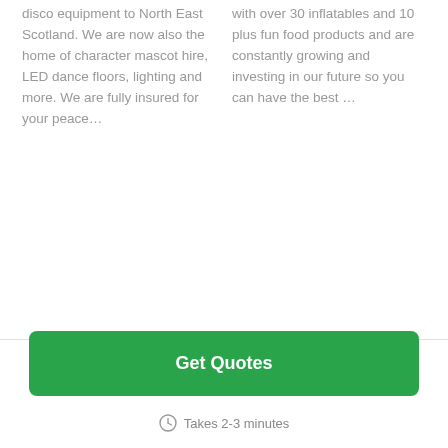disco equipment to North East Scotland. We are now also the home of character mascot hire, LED dance floors, lighting and more. We are fully insured for your peace…
with over 30 inflatables and 10 plus fun food products and are constantly growing and investing in our future so you can have the best …
Get Quotes
Takes 2-3 minutes